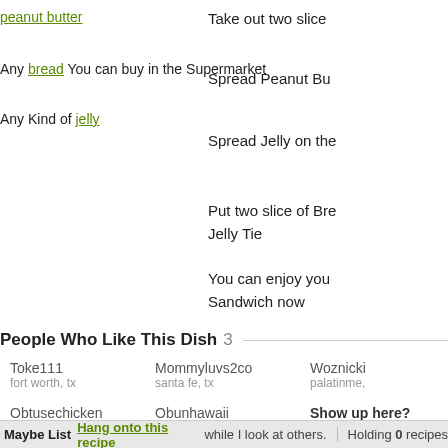peanut butter
Any bread You can buy in the Supermarket
Any Kind of jelly
Take out two slice
Spread Peanut Bu
Spread Jelly on the
Put two slice of Bre Jelly Tie
You can enjoy you Sandwich now
People Who Like This Dish 3
Toke111
fort worth, tx
Mommyluvs2co
santa fe, tx
Woznicki
palatinme,
Obtusechicken
golden, co
Obunhawaii
honolulu, hi
Show up here?
Review or Bookmark i
Maybe List Hang onto this recipe while I look at others. Holding 0 recipes